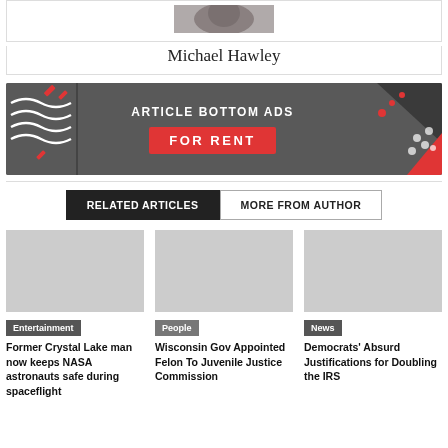[Figure (photo): Partial photo of a person (Michael Hawley), cropped at top]
Michael Hawley
[Figure (infographic): Advertisement banner: ARTICLE BOTTOM ADS FOR RENT on dark grey background with red and white decorative shapes]
RELATED ARTICLES
MORE FROM AUTHOR
[Figure (photo): Article thumbnail image placeholder for Entertainment article]
Entertainment
Former Crystal Lake man now keeps NASA astronauts safe during spaceflight
[Figure (photo): Article thumbnail image placeholder for People article]
People
Wisconsin Gov Appointed Felon To Juvenile Justice Commission
[Figure (photo): Article thumbnail image placeholder for News article]
News
Democrats' Absurd Justifications for Doubling the IRS